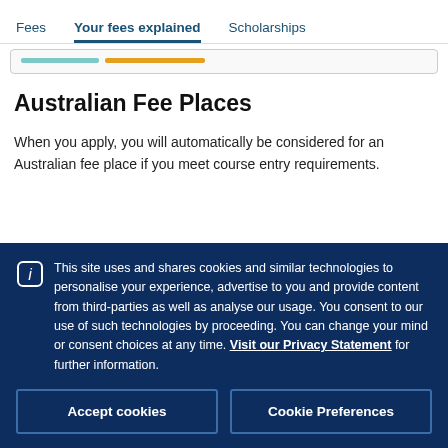Fees   Your fees explained   Scholarships
Australian Fee Places
When you apply, you will automatically be considered for an Australian fee place if you meet course entry requirements.
This site uses and shares cookies and similar technologies to personalise your experience, advertise to you and provide content from third-parties as well as analyse our usage. You consent to our use of such technologies by proceeding. You can change your mind or consent choices at any time. Visit our Privacy Statement for further information.
Accept cookies
Cookie Preferences